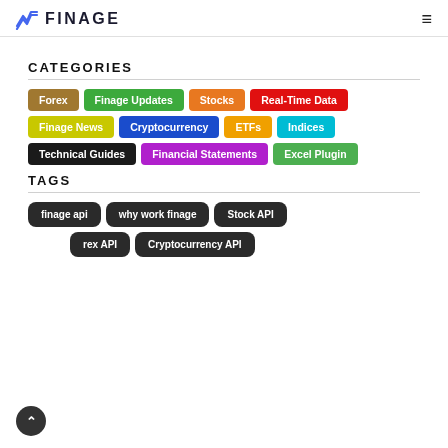FINAGE
CATEGORIES
Forex
Finage Updates
Stocks
Real-Time Data
Finage News
Cryptocurrency
ETFs
Indices
Technical Guides
Financial Statements
Excel Plugin
TAGS
finage api
why work finage
Stock API
rex API
Cryptocurrency API